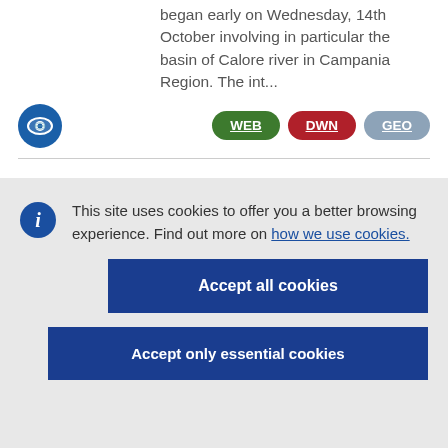began early on Wednesday, 14th October involving in particular the basin of Calore river in Campania Region. The int...
[Figure (logo): Blue circular eye icon (ERCC/Copernicus logo)]
WEB DWN GEO (badge buttons)
This site uses cookies to offer you a better browsing experience. Find out more on how we use cookies.
Accept all cookies
Accept only essential cookies